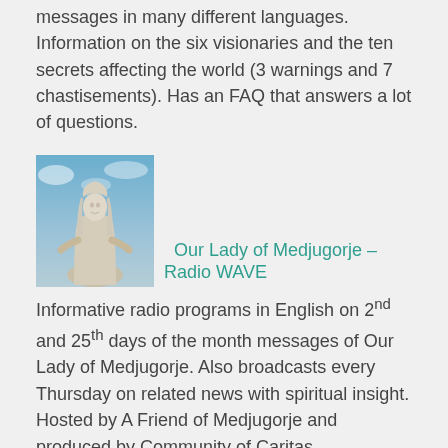messages in many different languages. Information on the six visionaries and the ten secrets affecting the world (3 warnings and 7 chastisements). Has an FAQ that answers a lot of questions.
[Figure (photo): A white stone statue of Our Lady (Virgin Mary) with arms slightly extended, against a blue sky background.]
Our Lady of Medjugorje – Radio WAVE
Informative radio programs in English on 2nd and 25th days of the month messages of Our Lady of Medjugorje. Also broadcasts every Thursday on related news with spiritual insight. Hosted by A Friend of Medjugorje and produced by Community of Caritas.
Our Lady of Naju Official website on the 30 years of miracles and heavenly messages given to Catholic stigmatist, Julie Kim, in Naju, Korea. Many miracles